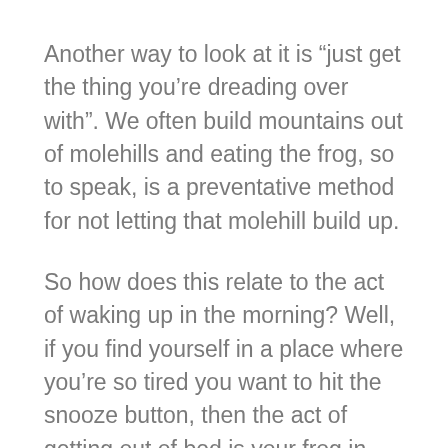Another way to look at it is “just get the thing you’re dreading over with”. We often build mountains out of molehills and eating the frog, so to speak, is a preventative method for not letting that molehill build up.
So how does this relate to the act of waking up in the morning? Well, if you find yourself in a place where you’re so tired you want to hit the snooze button, then the act of getting out of bed is your frog in that instance. It’s a hard task that you can tackle. You can either choose to